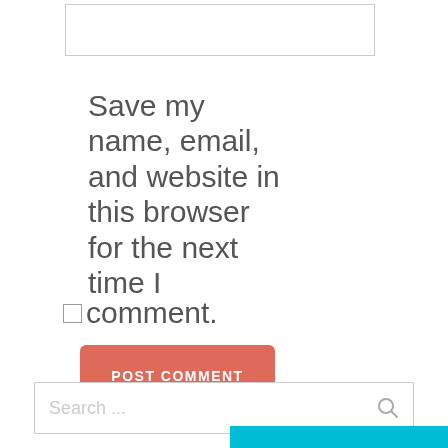[Figure (screenshot): Empty text input field with light grey border]
Save my name, email, and website in this browser for the next time I comment.
[Figure (screenshot): POST COMMENT button with red/salmon background color]
[Figure (screenshot): Search input field with placeholder text 'Search ...' and search icon]
[Figure (screenshot): Cyan/teal horizontal bar at bottom right]